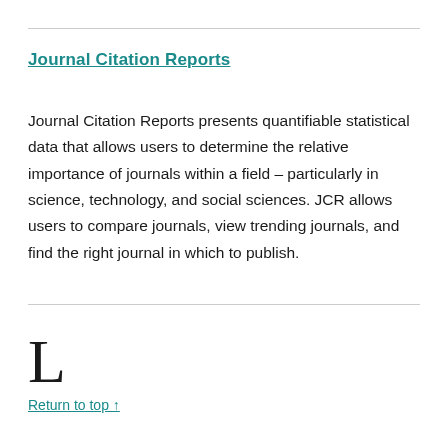Journal Citation Reports
Journal Citation Reports presents quantifiable statistical data that allows users to determine the relative importance of journals within a field – particularly in science, technology, and social sciences. JCR allows users to compare journals, view trending journals, and find the right journal in which to publish.
L
Return to top ↑